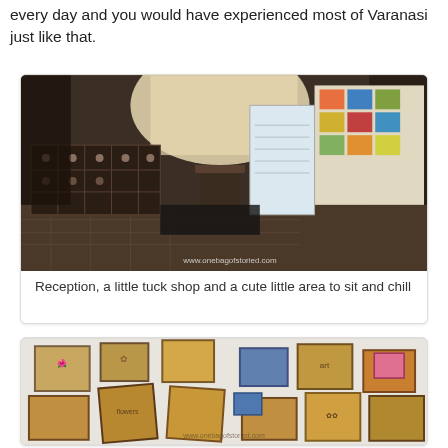every day and you would have experienced most of Varanasi just like that.
[Figure (photo): Interior of a hostel/guesthouse reception area showing display cabinets, a corridor, and colorful notice board with a whiteboard. Watermark: www.onebagofstoried.com]
Reception, a little tuck shop and a cute little area to sit and chill
[Figure (photo): Wall display of framed artwork and cork board pieces with illustrations and text, arranged in a scattered pattern. Watermark: www.onebagofstoried.com]